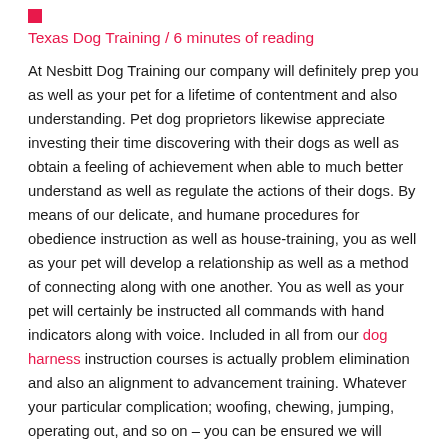Texas Dog Training / 6 minutes of reading
At Nesbitt Dog Training our company will definitely prep you as well as your pet for a lifetime of contentment and also understanding. Pet dog proprietors likewise appreciate investing their time discovering with their dogs as well as obtain a feeling of achievement when able to much better understand as well as regulate the actions of their dogs. By means of our delicate, and humane procedures for obedience instruction as well as house-training, you as well as your pet will develop a relationship as well as a method of connecting along with one another. You as well as your pet will certainly be instructed all commands with hand indicators along with voice. Included in all from our dog harness instruction courses is actually problem elimination and also an alignment to advancement training. Whatever your particular complication; woofing, chewing, jumping, operating out, and so on – you can be ensured we will definitely collaborate along with you